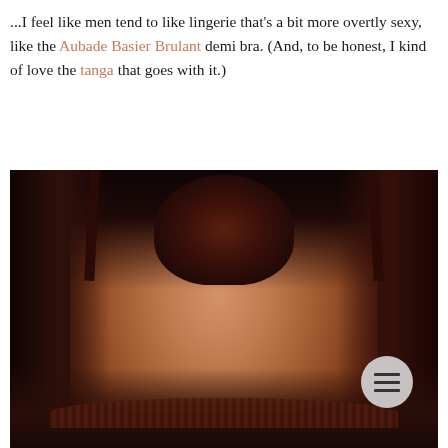...I feel like men tend to like lingerie that's a bit more overtly sexy, like the Aubade Basier Brulant demi bra. (And, to be honest, I kind of love the tanga that goes with it.)
[Figure (photo): Close-up photograph of a woman from behind, with her hair up in a bun, wearing a dark brown/black lace demi bra. The image shows her neck, shoulders and back. A circular menu button with three horizontal lines is visible in the lower right corner of the image.]